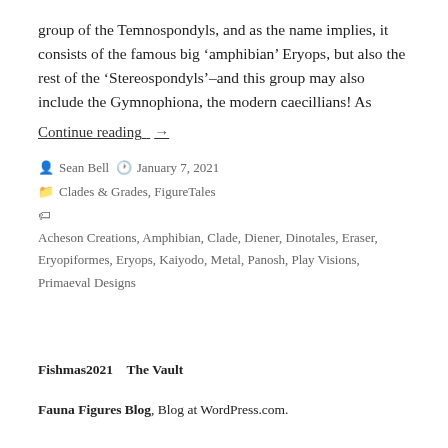group of the Temnospondyls, and as the name implies, it consists of the famous big ‘amphibian’ Eryops, but also the rest of the ‘Stereospondyls’–and this group may also include the Gymnophiona, the modern caecillians! As
Continue reading →
Sean Bell   January 7, 2021
Clades & Grades, FigureTales
Acheson Creations, Amphibian, Clade, Diener, Dinotales, Eraser, Eryopiformes, Eryops, Kaiyodo, Metal, Panosh, Play Visions, Primaeval Designs
Fishmas2021   The Vault
Fauna Figures Blog, Blog at WordPress.com.